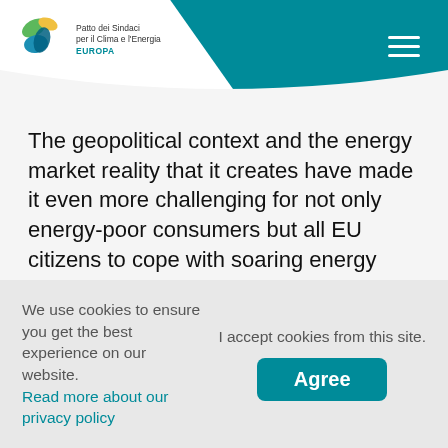Patto dei Sindaci per il Clima e l'Energia EUROPA
The geopolitical context and the energy market reality that it creates have made it even more challenging for not only energy-poor consumers but all EU citizens to cope with soaring energy prices. The pressing need for just energy transition is now more needed than ever. REPowerEU is the EU's new plan aiming to diversify gas supplies, speed up the roll-out of renewable gas and replace gas in heating and power generation with the ultimate goal of phasing out the dependence on fossil fuels from Russia before 2030. The ambiguous
We use cookies to ensure you get the best experience on our website. Read more about our privacy policy
I accept cookies from this site. Agree